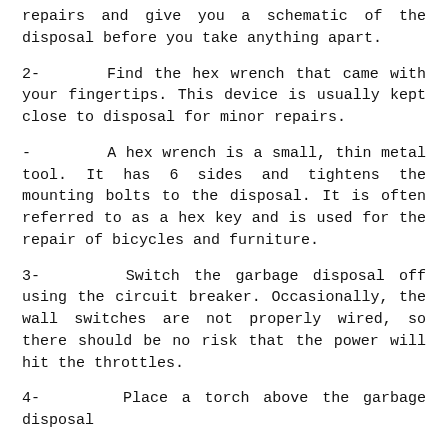repairs and give you a schematic of the disposal before you take anything apart.
2-      Find the hex wrench that came with your fingertips. This device is usually kept close to disposal for minor repairs.
-        A hex wrench is a small, thin metal tool. It has 6 sides and tightens the mounting bolts to the disposal. It is often referred to as a hex key and is used for the repair of bicycles and furniture.
3-      Switch the garbage disposal off using the circuit breaker. Occasionally, the wall switches are not properly wired, so there should be no risk that the power will hit the throttles.
4-      Place a torch above the garbage disposal